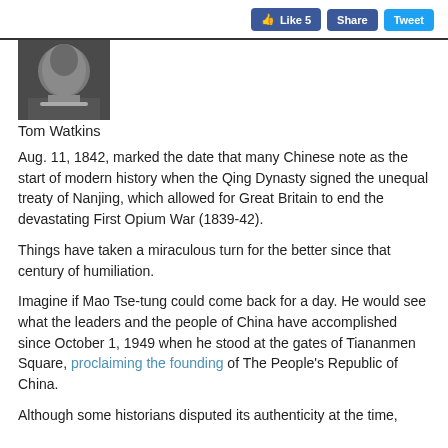Like 5 | Share | Tweet
[Figure (photo): Close-up photo of a man's lower face and collar, grayscale/dark toned]
Tom Watkins
Aug. 11, 1842, marked the date that many Chinese note as the start of modern history when the Qing Dynasty signed the unequal treaty of Nanjing, which allowed for Great Britain to end the devastating First Opium War (1839-42).
Things have taken a miraculous turn for the better since that century of humiliation.
Imagine if Mao Tse-tung could come back for a day. He would see what the leaders and the people of China have accomplished since October 1, 1949 when he stood at the gates of Tiananmen Square, proclaiming the founding of The People's Republic of China.
Although some historians disputed its authenticity at the time,